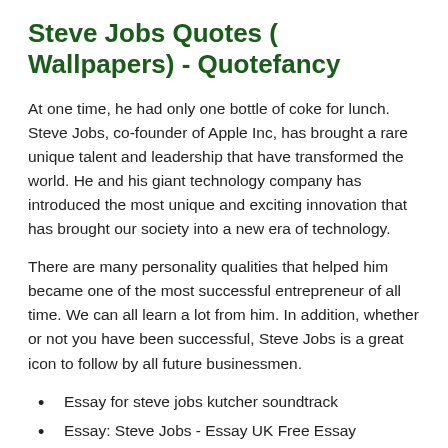Steve Jobs Quotes ( Wallpapers) - Quotefancy
At one time, he had only one bottle of coke for lunch. Steve Jobs, co-founder of Apple Inc, has brought a rare unique talent and leadership that have transformed the world. He and his giant technology company has introduced the most unique and exciting innovation that has brought our society into a new era of technology.
There are many personality qualities that helped him became one of the most successful entrepreneur of all time. We can all learn a lot from him. In addition, whether or not you have been successful, Steve Jobs is a great icon to follow by all future businessmen.
Essay for steve jobs kutcher soundtrack
Essay: Steve Jobs - Essay UK Free Essay Database